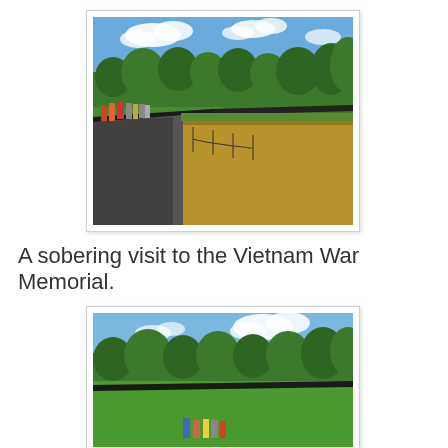[Figure (photo): Outdoor photo of the Vietnam War Memorial Wall in Washington D.C. People walk along the black reflective wall on the left side. Green trees line the background under a partly cloudy blue sky. Brown dry grass occupies the right half of the frame. A rope fence borders the memorial path.]
A sobering visit to the Vietnam War Memorial.
[Figure (photo): Another outdoor photo at the Vietnam War Memorial. A panoramic view showing green lawns, trees in the background, a partly cloudy sky, and visitors walking near the memorial wall in the lower portion of the image.]